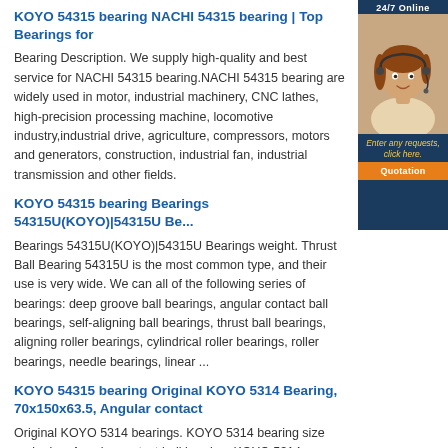KOYO 54315 bearing NACHI 54315 bearing | Top Bearings for
Bearing Description. We supply high-quality and best service for NACHI 54315 bearing.NACHI 54315 bearing are widely used in motor, industrial machinery, CNC lathes, high-precision processing machine, locomotive industry,industrial drive, agriculture, compressors, motors and generators, construction, industrial fan, industrial transmission and other fields.
[Figure (photo): Customer service representative with headset, 24/7 Online sidebar advertisement with quotation button]
KOYO 54315 bearing Bearings 54315U(KOYO)|54315U Be...
Bearings 54315U(KOYO)|54315U Bearings weight. Thrust Ball Bearing 54315U is the most common type, and their use is very wide. We can all of the following series of bearings: deep groove ball bearings, angular contact ball bearings, self-aligning ball bearings, thrust ball bearings, aligning roller bearings, cylindrical roller bearings, roller bearings, needle bearings, linear ...
KOYO 54315 bearing Original KOYO 5314 Bearing, 70x150x63.5, Angular contact
Original KOYO 5314 bearings. KOYO 5314 bearing size and price. Angular contact ball bearing. KOYO 5314 bearing: Hangzhou BFW Bearing Manufacturing Co., Ltd. professional providing KOYO 5314 Bearing, the old code: 3056314, The company can provide a variety of bearings, while also professional agency of 5314 of other brands of bearings, such as FAG